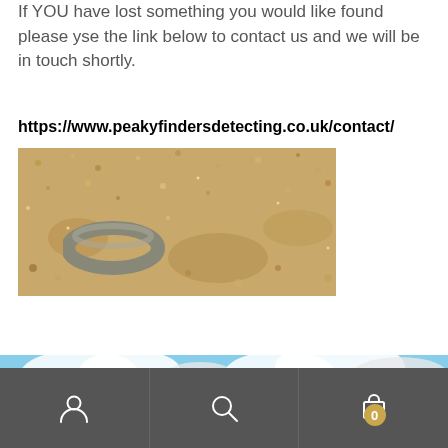If YOU have lost something you would like found please yse the link below to contact us and we will be in touch shortly.
https://www.peakyfindersdetecting.co.uk/contact/
[Figure (photo): Close-up photograph of a gold/silver wedding ring partially buried in sand]
[Figure (photo): Wide landscape photo of a ruined castle with trees and cloudy blue sky]
[Figure (infographic): Mobile app bottom navigation bar with person/account icon, search/magnifying glass icon, and shopping cart icon with badge showing 0]